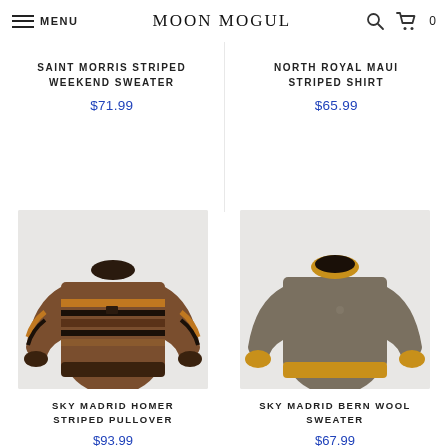MENU | MOON MOGUL
SAINT MORRIS STRIPED WEEKEND SWEATER
$71.99
NORTH ROYAL MAUI STRIPED SHIRT
$65.99
[Figure (photo): Brown striped pullover sweater with orange and black horizontal stripes on chest area, photographed on light grey background.]
[Figure (photo): Grey crewneck wool sweater with mustard/orange ribbed collar and cuffs, photographed on light grey background.]
SKY MADRID HOMER STRIPED PULLOVER
$93.99
SKY MADRID BERN WOOL SWEATER
$67.99